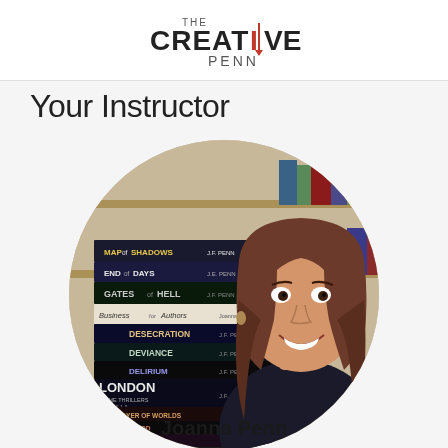[Figure (logo): The Creative Penn logo — stylized pen illustration with 'THE CREATIVE PENN' text in red and dark gray]
Your Instructor
[Figure (photo): Oval/circular portrait photo of Joanne Penn, a woman with long brown hair, smiling, wearing a dark top, seated in front of a large stack of her books (visible titles include Map of Shadows, End of Days, Gates of Hell, Business for Authors, Desecration, Deviance, Delirium, London Crime Thrillers, Destroyer of Worlds, Ark of Blood, Stone of Fire, Crypt of Bone — all by J.F. Penn or Joanna Penn), with a bookshelf in the background]
Joanna Penn